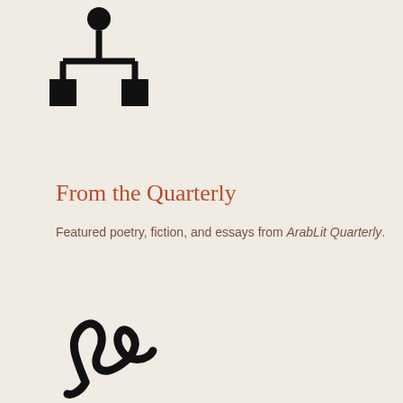[Figure (logo): Network/node icon — a circle connected to three squares via lines, forming a tree shape]
From the Quarterly
Featured poetry, fiction, and essays from ArabLit Quarterly.
[Figure (logo): Stylized cursive/signature icon representing handwriting or poetry]
Podcast
Advertisements
[Figure (infographic): Ulta Beauty advertisement banner showing makeup images: lips, brush, eye, Ulta logo, smoky eye, and SHOP NOW text]